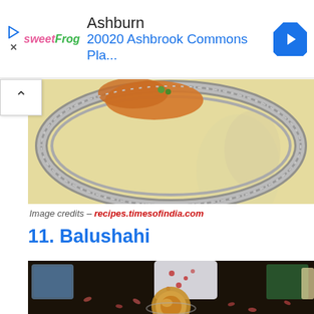[Figure (other): Advertisement banner for sweetFrog showing location 'Ashburn' and address '20020 Ashbrook Commons Pla...' with navigation arrow icon]
[Figure (photo): Top-down photo of an ornate silver decorative plate/tray with floral engravings containing Indian sweets on a cream background]
Image credits – recipes.timesofindia.com
11. Balushahi
[Figure (photo): Overhead photo of Balushahi Indian sweets on a dark background with decorative bowls and rose petals scattered around]